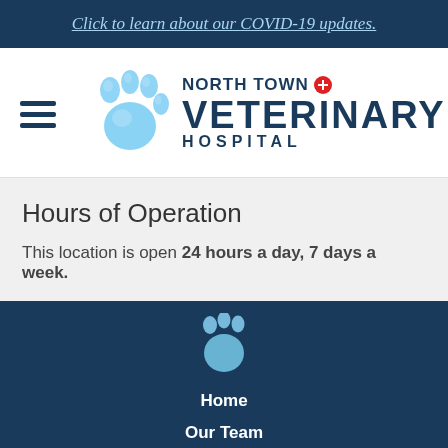Click to learn about our COVID-19 updates.
[Figure (logo): North Town Veterinary Hospital logo with blue paw print and text]
Hours of Operation
This location is open 24 hours a day, 7 days a week.
[Figure (illustration): Light blue paw print icon in footer]
Home
Our Team